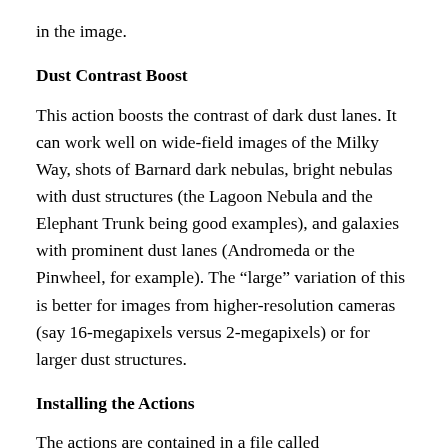in the image.
Dust Contrast Boost
This action boosts the contrast of dark dust lanes. It can work well on wide-field images of the Milky Way, shots of Barnard dark nebulas, bright nebulas with dust structures (the Lagoon Nebula and the Elephant Trunk being good examples), and galaxies with prominent dust lanes (Andromeda or the Pinwheel, for example). The “large” variation of this is better for images from higher-resolution cameras (say 16-megapixels versus 2-megapixels) or for larger dust structures.
Installing the Actions
The actions are contained in a file called